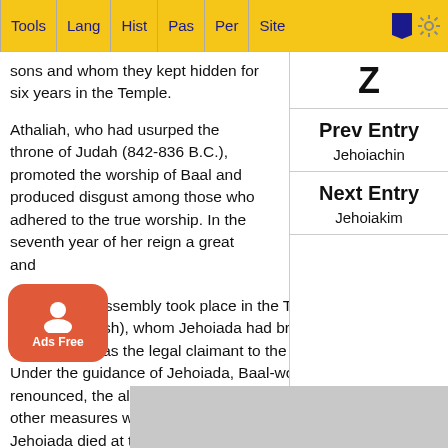Tools | Lang | Hist | Pas | Per | Site
sons and whom they kept hidden for six years in the Temple.
Athaliah, who had usurped the throne of Judah (842-836 B.C.), promoted the worship of Baal and produced disgust among those who adhered to the true worship. In the seventh year of her reign a great and enthusiastic assembly took place in the Temple which hailed Jehoash (Joash), whom Jehoiada had brought from his hiding-place, as the legal claimant to the throne of Judah. Under the guidance of Jehoiada, Baal-worship was renounced, the altar and temple of Baal were destroyed, and other measures were taken for the purification of the Temple. Jehoiada died at the age of 130, "and was buried in the city of David among the kings...because he had done good in Israel toward God, a...
Z
Prev Entry
Jehoiachin
Next Entry
Jehoiakim